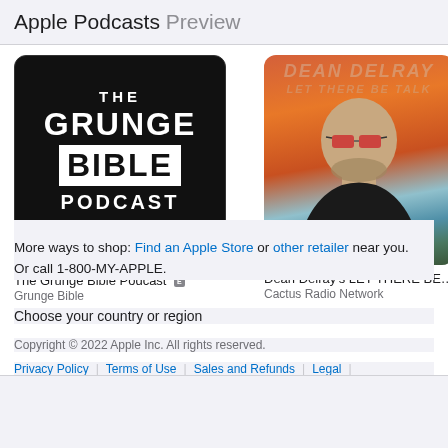Apple Podcasts Preview
[Figure (illustration): The Grunge Bible Podcast artwork - black background with white bold text reading THE GRUNGE BIBLE PODCAST with Chris Celona and Ethan Shalaway]
The Grunge Bible Podcast [E]
Grunge Bible
[Figure (illustration): Dean Delray's LET THERE BE podcast artwork - illustrated portrait of bald man with sunglasses against orange/desert background]
Dean Delray's LET THERE BE ...
Cactus Radio Network
More ways to shop: Find an Apple Store or other retailer near you.
Or call 1-800-MY-APPLE.
Choose your country or region
Copyright © 2022 Apple Inc. All rights reserved.
Privacy Policy | Terms of Use | Sales and Refunds | Legal |